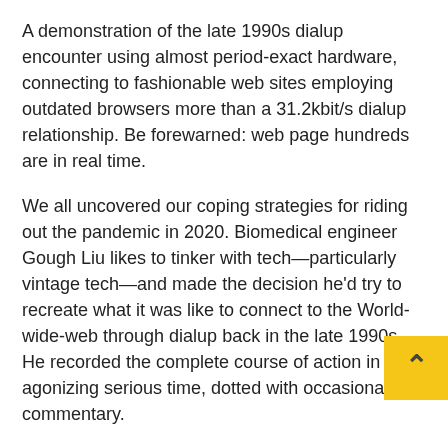A demonstration of the late 1990s dialup encounter using almost period-exact hardware, connecting to fashionable web sites employing outdated browsers more than a 31.2kbit/s dialup relationship. Be forewarned: web page hundreds are in real time.
We all uncovered our coping strategies for riding out the pandemic in 2020. Biomedical engineer Gough Liu likes to tinker with tech—particularly vintage tech—and made the decision he'd try to recreate what it was like to connect to the World-wide-web through dialup back in the late 1990s. He recorded the complete course of action in agonizing serious time, dotted with occasional commentary.
People of a sure age (ahem) well keep in mind what it applied to be like: even just booting up the laptop demanded endurance, specially in the previously element of the decade, when just one could shower and make coffee in the time it took to boot up one's pc from a floppy disk. Just one essential a committed mobile phone line for the Web link, due to the fact if not an incoming